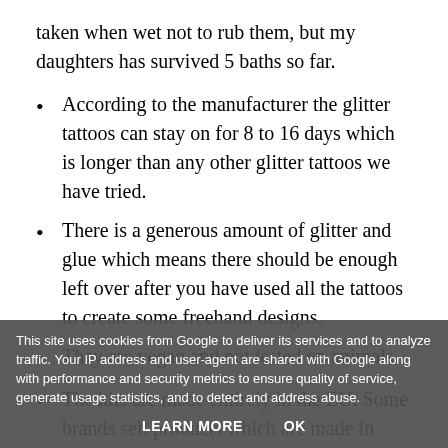taken when wet not to rub them, but my daughters has survived 5 baths so far.
According to the manufacturer the glitter tattoos can stay on for 8 to 16 days which is longer than any other glitter tattoos we have tried.
There is a generous amount of glitter and glue which means there should be enough left over after you have used all the tattoos to create some freehand designs.
They are vegan and not tested on animals.
The kits are made entirely in the EU. Some brands sell products which are made in countries with less stringent controls and repackaged in the EU which manufactured in Germany and registered on the EU cosmetic portal. The stencils and packaging are
This site uses cookies from Google to deliver its services and to analyze traffic. Your IP address and user-agent are shared with Google along with performance and security metrics to ensure quality of service, generate usage statistics, and to detect and address abuse. LEARN MORE   OK